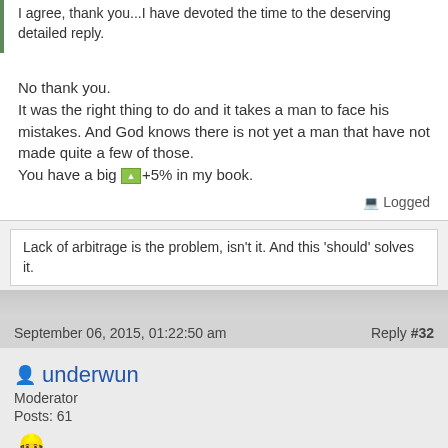I agree, thank you...I have devoted the time to the deserving detailed reply.
No thank you.
It was the right thing to do and it takes a man to face his mistakes. And God knows there is not yet a man that have not made quite a few of those.
You have a big [+5%] in my book.
Logged
Lack of arbitrage is the problem, isn't it. And this 'should' solves it.
September 06, 2015, 01:22:50 am   Reply #32
underwun
Moderator
Posts: 61